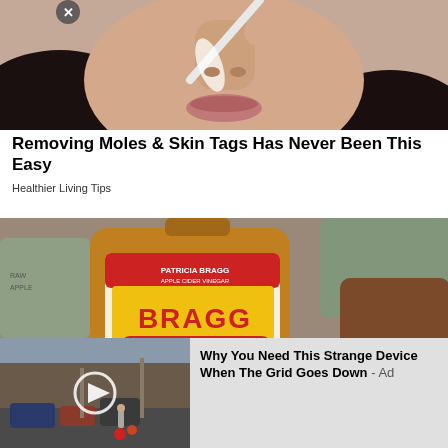[Figure (photo): Close-up photo of a woman applying something white/cream to her nose with a tool, face visible from nose down, dark hair]
Removing Moles & Skin Tags Has Never Been This Easy
Healthier Living Tips
[Figure (photo): Photo of a Bragg Organic Apple Cider Vinegar bottle being held by a hand outdoors]
[Figure (photo): Ad overlay: video thumbnail of a street scene with cars and pedestrians, with play button, and text: Why You Need This Strange Device When The Grid Goes Down - Ad]